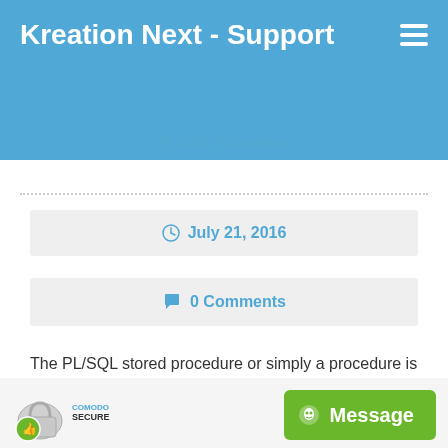Kreation Next - Support
PL/SQL Procedure
July 21, 2016
0 Comments
The PL/SQL stored procedure or simply a procedure is a PL/SQL block which performs one or more specific tasks. It is just like procedures in…
[Figure (logo): Comodo Secure badge with padlock and thumbs up icon]
[Figure (other): Green Message button with alien/chat icon]